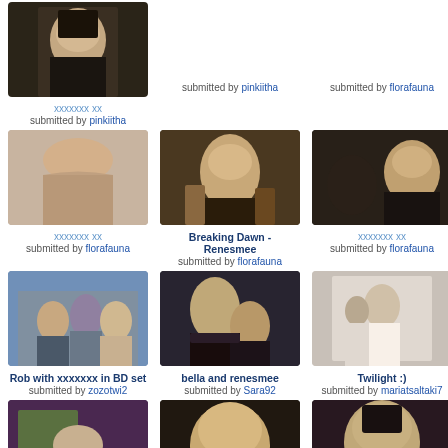[Figure (photo): Dark-haired woman close-up, top left, partial (cropped at top)]
xxxxxxx xx
submitted by pinkiitha
[Figure (photo): Submitted by pinkiitha (partial text visible at top center)]
[Figure (photo): Submitted by florafauna (partial text visible at top right)]
[Figure (photo): Person's bare back, second row left]
xxxxxxx xx
submitted by florafauna
[Figure (photo): Young woman in forest/outdoor setting - Breaking Dawn Renesmee]
Breaking Dawn - Renesmee
submitted by florafauna
[Figure (photo): Man in dark scene, third column second row]
xxxxxxx xx
submitted by florafauna
[Figure (photo): Rob with others on BD set, third row left]
Rob with xxxxxxx in BD set
submitted by zozotwi2
[Figure (photo): Two women/girls at event - bella and renesmee]
bella and renesmee
submitted by Sara92
[Figure (photo): Wedding scene - Twilight]
Twilight :)
submitted by mariatsaltaki7
[Figure (photo): Bottom left partial image]
[Figure (photo): Bottom center partial image - woman close up]
[Figure (photo): Bottom right partial image - woman with dark hair]